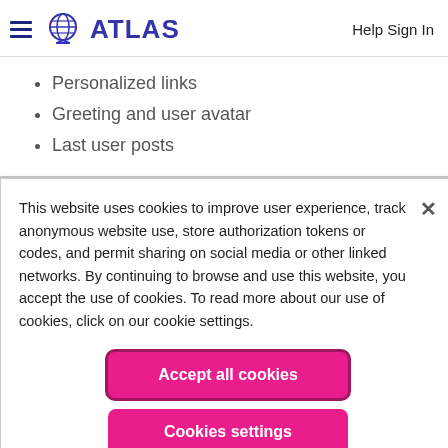ATLAS   Help Sign In
Personalized links
Greeting and user avatar
Last user posts
This website uses cookies to improve user experience, track anonymous website use, store authorization tokens or codes, and permit sharing on social media or other linked networks. By continuing to browse and use this website, you accept the use of cookies. To read more about our use of cookies, click on our cookie settings.
Accept all cookies
Cookies settings
meetup